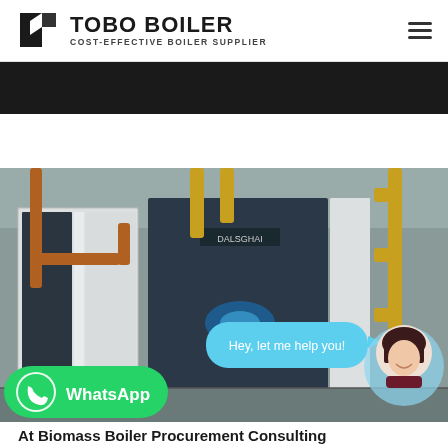TOBO BOILER — COST-EFFECTIVE BOILER SUPPLIER
[Figure (photo): Boiler room with industrial gas boilers, yellow and copper pipes, and dark banner strip at top]
Hey, let me help you!
[Figure (logo): WhatsApp logo button in green with text WhatsApp]
At Biomass Boiler Procurement Consulting